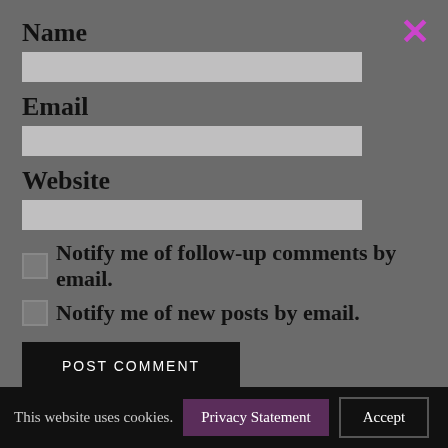Name
Email
Website
Notify me of follow-up comments by email.
Notify me of new posts by email.
POST COMMENT
Privacy Statement
Please accept the Privacy Statement before continuing to browse here.
This website uses cookies.
Privacy Statement
Accept